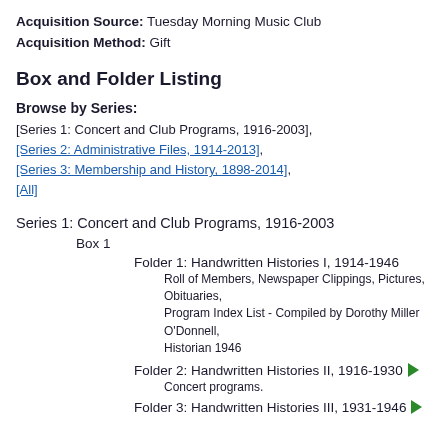Acquisition Source: Tuesday Morning Music Club
Acquisition Method: Gift
Box and Folder Listing
Browse by Series:
[Series 1: Concert and Club Programs, 1916-2003], [Series 2: Administrative Files, 1914-2013], [Series 3: Membership and History, 1898-2014], [All]
Series 1: Concert and Club Programs, 1916-2003
Box 1
Folder 1: Handwritten Histories I, 1914-1946
Roll of Members, Newspaper Clippings, Pictures, Obituaries, Program Index List - Compiled by Dorothy Miller O'Donnell, Historian 1946
Folder 2: Handwritten Histories II, 1916-1930
Concert programs.
Folder 3: Handwritten Histories III, 1931-1946